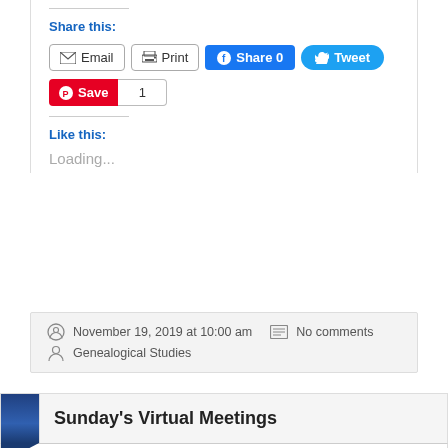Share this:
[Figure (screenshot): Social sharing buttons: Email, Print, Facebook Share 0, Twitter Tweet]
[Figure (screenshot): Pinterest Save button with count 1]
Like this:
Loading...
November 19, 2019 at 10:00 am  No comments  Genealogical Studies
Sunday's Virtual Meetings
This is a reminder we have several virtual meetings scheduled for Sunday. Hope you can join us!